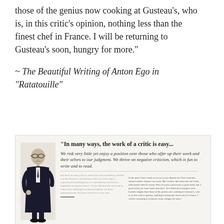those of the genius now cooking at Gusteau's, who is, in this critic's opinion, nothing less than the finest chef in France. I will be returning to Gusteau's soon, hungry for more."
~ The Beautiful Writing of Anton Ego in "Ratatouille"
[Figure (illustration): Card featuring Anton Ego character illustration with quote 'In many ways, the work of a critic is easy...' and italic quote about risking little and negative criticism, followed by two columns of smaller text.]